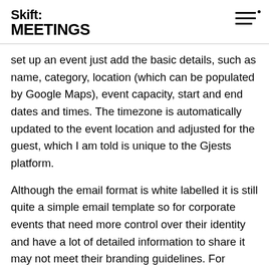Skift: MEETINGS
set up an event just add the basic details, such as name, category, location (which can be populated by Google Maps), event capacity, start and end dates and times. The timezone is automatically updated to the event location and adjusted for the guest, which I am told is unique to the Gjests platform.
Although the email format is white labelled it is still quite a simple email template so for corporate events that need more control over their identity and have a lot of detailed information to share it may not meet their branding guidelines. For consumer events and